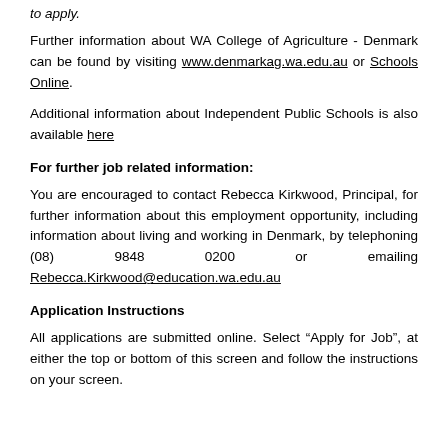to apply.
Further information about WA College of Agriculture - Denmark can be found by visiting www.denmarkag.wa.edu.au or Schools Online.
Additional information about Independent Public Schools is also available here
For further job related information:
You are encouraged to contact Rebecca Kirkwood, Principal, for further information about this employment opportunity, including information about living and working in Denmark, by telephoning (08) 9848 0200 or emailing Rebecca.Kirkwood@education.wa.edu.au
Application Instructions
All applications are submitted online. Select “Apply for Job”, at either the top or bottom of this screen and follow the instructions on your screen.